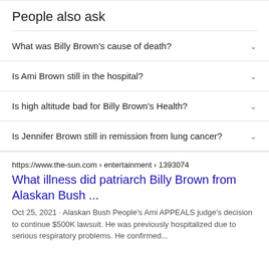People also ask
What was Billy Brown's cause of death?
Is Ami Brown still in the hospital?
Is high altitude bad for Billy Brown's Health?
Is Jennifer Brown still in remission from lung cancer?
https://www.the-sun.com › entertainment › 1393074
What illness did patriarch Billy Brown from Alaskan Bush ...
Oct 25, 2021 · Alaskan Bush People's Ami APPEALS judge's decision to continue $500K lawsuit. He was previously hospitalized due to serious respiratory problems. He confirmed...